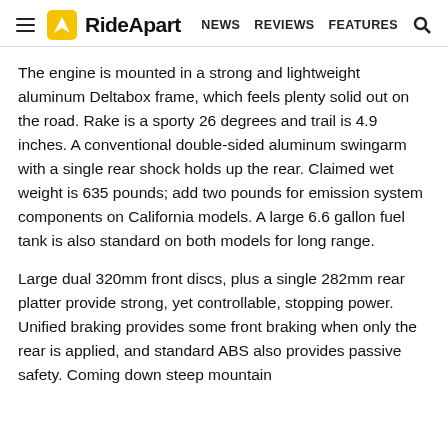RideApart | NEWS  REVIEWS  FEATURES
The engine is mounted in a strong and lightweight aluminum Deltabox frame, which feels plenty solid out on the road. Rake is a sporty 26 degrees and trail is 4.9 inches. A conventional double-sided aluminum swingarm with a single rear shock holds up the rear. Claimed wet weight is 635 pounds; add two pounds for emission system components on California models. A large 6.6 gallon fuel tank is also standard on both models for long range.
Large dual 320mm front discs, plus a single 282mm rear platter provide strong, yet controllable, stopping power. Unified braking provides some front braking when only the rear is applied, and standard ABS also provides passive safety. Coming down steep mountain